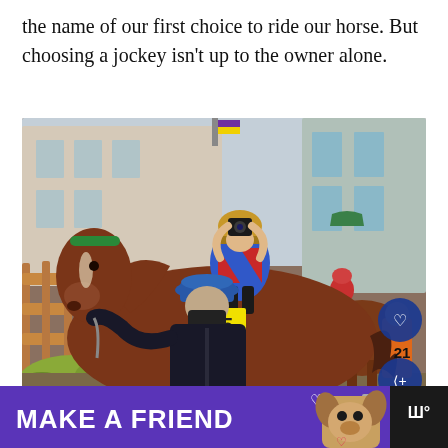the name of our first choice to ride our horse. But choosing a jockey isn't up to the owner alone.
[Figure (photo): A jockey in colorful red and blue silks rides a chestnut horse being led through what appears to be a paddock area. A person in a dark jacket and blue baseball cap stands in the foreground holding the lead rope. Another horse and rider are visible in the background on the right. Social media UI elements visible including a like button with count of 21, share button, and a 'What's Next' overlay in the bottom right showing 'Where's It From And...']
[Figure (screenshot): Advertisement banner with purple background reading 'MAKE A FRIEND' with a heart icon and a dog image. A dark sidebar on the right shows a logo and temperature indicator.]